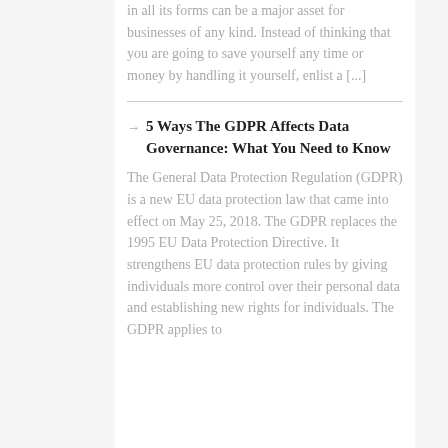in all its forms can be a major asset for businesses of any kind. Instead of thinking that you are going to save yourself any time or money by handling it yourself, enlist a [...]
5 Ways The GDPR Affects Data Governance: What You Need to Know
The General Data Protection Regulation (GDPR) is a new EU data protection law that came into effect on May 25, 2018. The GDPR replaces the 1995 EU Data Protection Directive. It strengthens EU data protection rules by giving individuals more control over their personal data and establishing new rights for individuals. The GDPR applies to